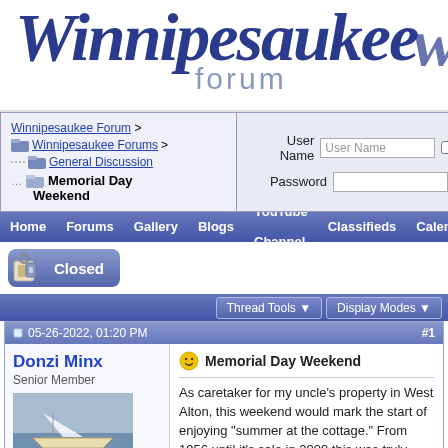[Figure (logo): Winnipesaukee Forum logo with decorative italic script and 'forum' subtitle]
Winnipesaukee Forum > Winnipesaukee Forums > General Discussion > Memorial Day Weekend | Login form with User Name and Password fields, Remember Me checkbox, Log in button
Home  Forums  Gallery  Blogs  YouTube Channel  Classifieds  Calendar  Re…
[Figure (screenshot): Closed thread icon with lock symbol and blue 'Closed' button]
Thread Tools ▼  Display Modes ▼
05-26-2022, 01:20 PM  #1
Donzi Minx
Senior Member
Memorial Day Weekend
As caretaker for my uncle's property in West Alton, this weekend would mark the start of enjoying "summer at the cottage." From 1956 until it's sale in 2009 this was truly